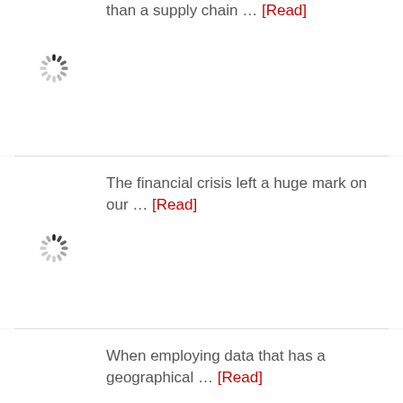than a supply chain … [Read]
[Figure (illustration): Loading spinner icon (animated loading indicator)]
The financial crisis left a huge mark on our … [Read]
[Figure (illustration): Loading spinner icon (animated loading indicator)]
When employing data that has a geographical … [Read]
[Figure (illustration): Loading spinner icon (animated loading indicator)]